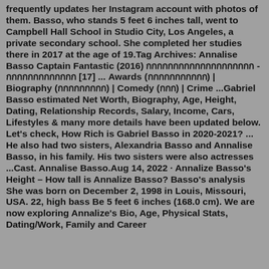frequently updates her Instagram account with photos of them. Basso, who stands 5 feet 6 inches tall, went to Campbell Hall School in Studio City, Los Angeles, a private secondary school. She completed her studies there in 2017 at the age of 19.Tag Archives: Annalise Basso Captain Fantastic (2016) กกกกกกกกกกกกกกกกกกกก - กกกกกกกกกกกกก [17] ... Awards (กกกกกกกกกกก) | Biography (กกกกกกกกก) | Comedy (กกก) | Crime ...Gabriel Basso estimated Net Worth, Biography, Age, Height, Dating, Relationship Records, Salary, Income, Cars, Lifestyles & many more details have been updated below. Let's check, How Rich is Gabriel Basso in 2020-2021? ... He also had two sisters, Alexandria Basso and Annalise Basso, in his family. His two sisters were also actresses ...Cast. Annalise Basso.Aug 14, 2022 · Annalize Basso's Height – How tall is Annalize Basso? Basso's analysis She was born on December 2, 1998 in Louis, Missouri, USA. 22, high bass Be 5 feet 6 inches (168.0 cm). We are now exploring Annalize's Bio, Age, Physical Stats, Dating/Work, Family and Career